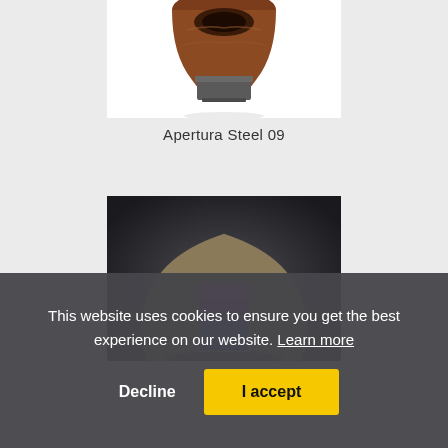[Figure (photo): Sculpture artwork 'Apertura Steel 09' — a rounded wooden/metal form with circular opening, photographed against white background, top portion visible]
Apertura Steel 09
[Figure (photo): Sculpture artwork — a stone-like mound form with a glowing purple/blue rectangular portal opening in the center, photographed against dark background]
This website uses cookies to ensure you get the best experience on our website. Learn more
Decline
I accept